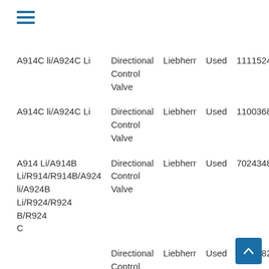[Figure (other): Hamburger menu icon (three horizontal lines) in blue at top left]
| Model | Type | Brand | Condition | Part Number |
| --- | --- | --- | --- | --- |
| A914C li/A924C Li | Directional Control Valve | Liebherr | Used | 11115249 |
| A914C li/A924C Li | Directional Control Valve | Liebherr | Used | 11003683 |
| A914 Li/A914B Li/R914/R914B/A924 li/A924B Li/R924/R924 B/R924 C | Directional Control Valve | Liebherr | Used | 7024348 |
|  | Directional Control Valve | Liebherr | Used | 5617282 |